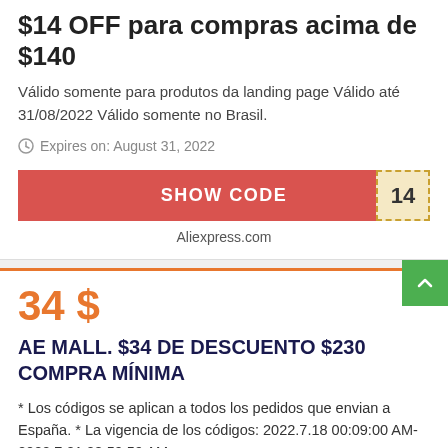$14 OFF para compras acima de $140
Válido somente para produtos da landing page Válido até 31/08/2022 Válido somente no Brasil.
Expires on: August 31, 2022
[Figure (other): SHOW CODE button in red with dashed badge showing '14' on the right]
Aliexpress.com
34 $
AE MALL. $34 DE DESCUENTO $230 COMPRA MÍNIMA
* Los códigos se aplican a todos los pedidos que envian a España. * La vigencia de los códigos: 2022.7.18 00:09:00 AM- 2022.7.21 08:59:59 AM